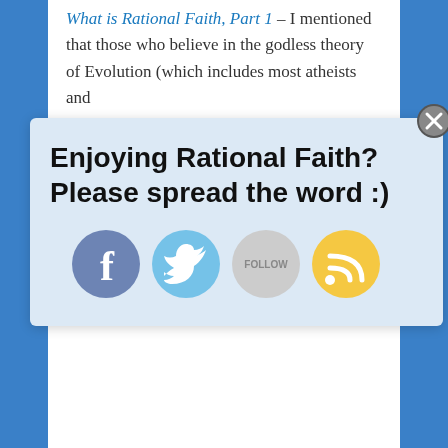What is Rational Faith, Part 1 – I mentioned that those who believe in the godless theory of Evolution (which includes most atheists and
[Figure (screenshot): Popup overlay with text 'Enjoying Rational Faith? Please spread the word :)' and social media icons for Facebook, Twitter, Follow, and RSS feed. A close button (X) appears in the top right corner.]
in God, they therefore think themselves immune to the common banalities (as they might describe it) of being a follower of a faith. Yet when you look at the impact of evolution on their lives, and how it changes their thoughts and behaviors, one can only conclude that for those who thoroughly understand the theory, it has taken the place of God in their lives². Now you'll note I've qualified the statement by the